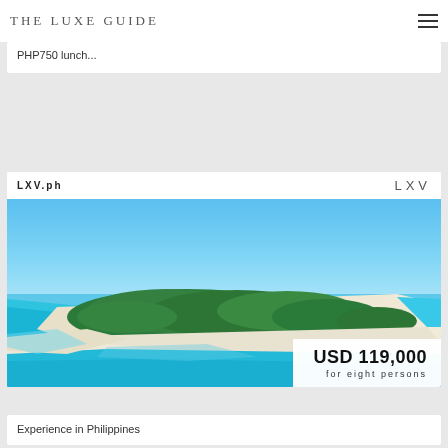THE LUXE GUIDE
PHP750 lunch...
LXV.ph
[Figure (photo): Aerial view of a tropical island with white sand beach, dense green jungle/forest, and turquoise blue ocean waters on both sides]
USD 119,000 for eight persons
Experience in Philippines